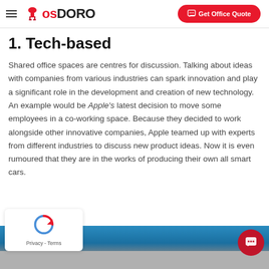CosDORO — Get Office Quote
1. Tech-based
Shared office spaces are centres for discussion. Talking about ideas with companies from various industries can spark innovation and play a significant role in the development and creation of new technology. An example would be Apple's latest decision to move some employees in a co-working space. Because they decided to work alongside other innovative companies, Apple teamed up with experts from different industries to discuss new product ideas. Now it is even rumoured that they are in the works of producing their own all smart cars.
[Figure (photo): Partial view of an outdoor scene with blue sky and grey pavement/road surface, partially obscured by overlaid UI elements.]